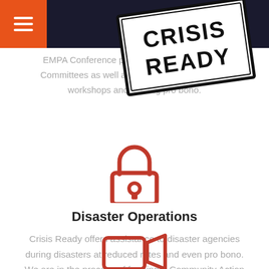Menu / Navigation header with hamburger icon
[Figure (logo): Crisis Ready stamp/logo overlaid on top of header area, rotated slightly, black block letters on white with border]
EMPA Conference participating in Conference Committees as well as providing presentations, workshops and training pro bono.
[Figure (illustration): Red padlock icon, line-art style, centered on white background]
Disaster Operations
Crisis Ready offers assistance to disaster agencies during disasters at reduced rates and even pro bono. We are in the process of forming a Community Action Group for the NSW SES.
[Figure (illustration): Red video camera / camcorder icon, line-art style, partially visible at bottom of page]